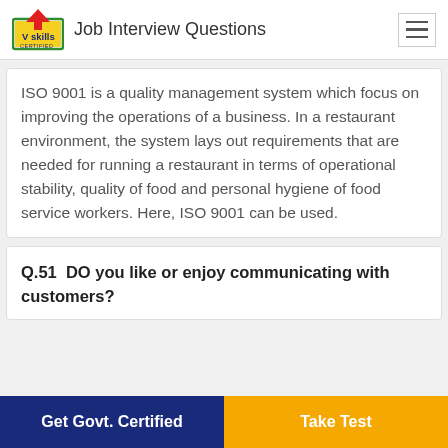Job Interview Questions
ISO 9001 is a quality management system which focus on improving the operations of a business. In a restaurant environment, the system lays out requirements that are needed for running a restaurant in terms of operational stability, quality of food and personal hygiene of food service workers. Here, ISO 9001 can be used.
Q.51  DO you like or enjoy communicating with customers?
Get Govt. Certified
Take Test